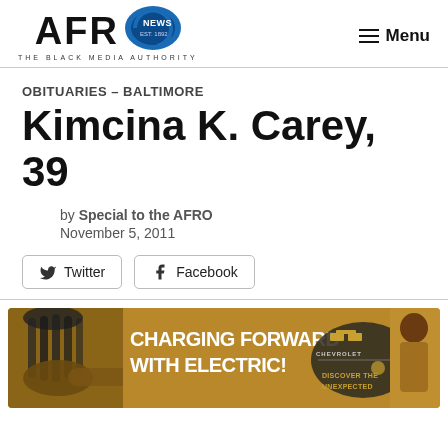AFRO NEWS — THE BLACK MEDIA AUTHORITY | Menu
OBITUARIES – BALTIMORE
Kimcina K. Carey, 39
by Special to the AFRO
November 5, 2011
[Figure (screenshot): Social share buttons: Twitter and Facebook]
[Figure (photo): Chevrolet advertisement banner: 'CHARGING FORWARD WITH ELECTRIC!' with a person with braids on the left and Chevrolet 'Discover the Unexpected' branding on the right.]